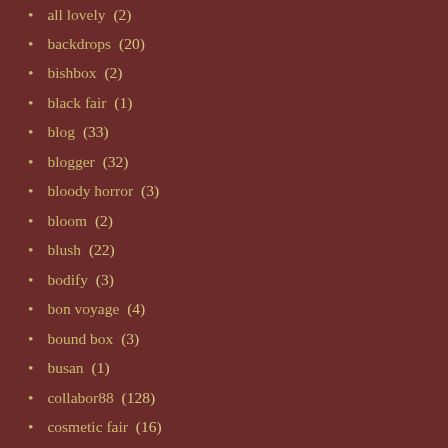all lovely (2)
backdrops (20)
bishbox (2)
black fair (1)
blog (33)
blogger (32)
bloody horror (3)
bloom (2)
blush (22)
bodify (3)
bon voyage (4)
bound box (3)
busan (1)
collabor88 (128)
cosmetic fair (16)
cosmopolitan (33)
creators collection box (17)
cutie loot (5)